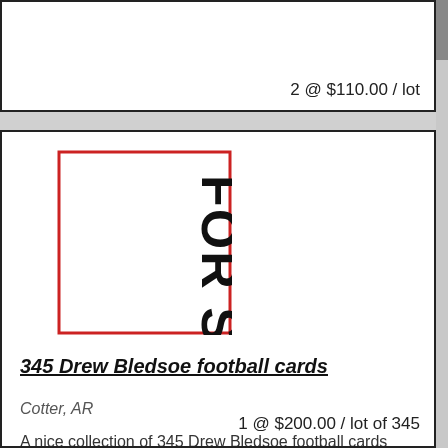2 @ $110.00 / lot
[Figure (illustration): FOR SALE sign with red border on white background, text rotated vertically]
345 Drew Bledsoe football cards
Cotter, AR
A nice collection of 345 Drew Bledsoe football cards from his playing days for the New England Patriots and Buffaloe Bills. Beckett book value for these cards is over $400.On sale for $200 ITEX.There ...
more
1 @ $200.00 / lot of 345